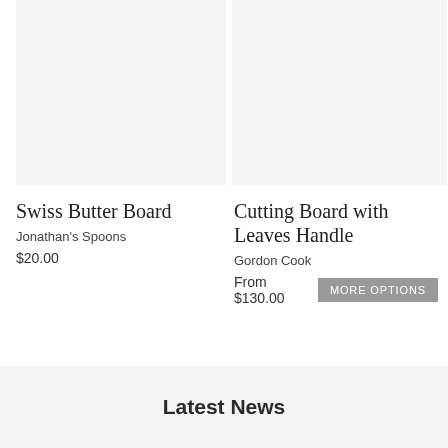[Figure (photo): Product image placeholder for Swiss Butter Board, light gray background]
Swiss Butter Board
Jonathan's Spoons
$20.00
[Figure (photo): Product image placeholder for Cutting Board with Leaves Handle, light gray background]
Cutting Board with Leaves Handle
Gordon Cook
From $130.00
Latest News